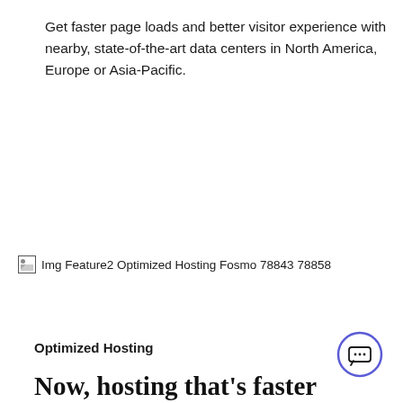Get faster page loads and better visitor experience with nearby, state-of-the-art data centers in North America, Europe or Asia-Pacific.
[Figure (photo): Broken image placeholder with alt text: Img Feature2 Optimized Hosting Fosmo 78843 78858]
Optimized Hosting
Now, hosting that's faster